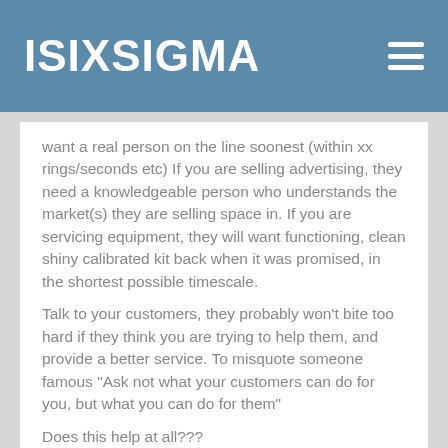ISIXSIGMA
want a real person on the line soonest (within xx rings/seconds etc)  If you are selling advertising, they need a knowledgeable person who understands the market(s) they are selling space in.  If you are servicing equipment, they will want functioning, clean shiny calibrated kit back when it was promised, in the shortest possible timescale.
Talk to your customers, they probably won’t bite too hard if they think you are trying to help them, and provide a better service.  To misquote someone famous “Ask not what your customers can do for you, but what you can do for them”
Does this help at all???
regards
James